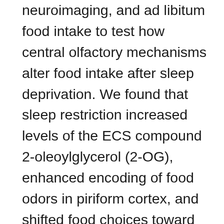neuroimaging, and ad libitum food intake to test how central olfactory mechanisms alter food intake after sleep deprivation. We found that sleep restriction increased levels of the ECS compound 2-oleoylglycerol (2-OG), enhanced encoding of food odors in piriform cortex, and shifted food choices toward energy-dense food items. Importantly, the relationship between changes in 2-OG and food choices was formally mediated by odor-evoked connectivity between the piriform cortex and insula, a region involved in integrating feeding-related signals. These findings describe a potential neurobiological pathway by which state-dependent changes in